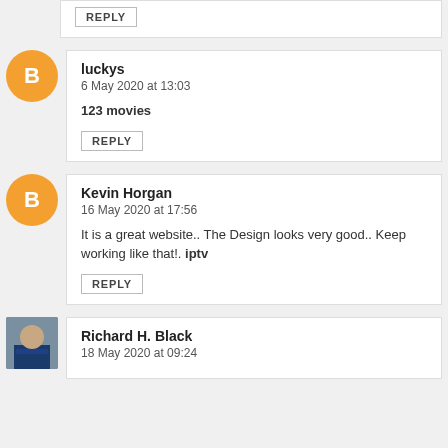REPLY
luckys
6 May 2020 at 13:03
123 movies
REPLY
Kevin Horgan
16 May 2020 at 17:56
It is a great website.. The Design looks very good.. Keep working like that!. iptv
REPLY
Richard H. Black
18 May 2020 at 09:24